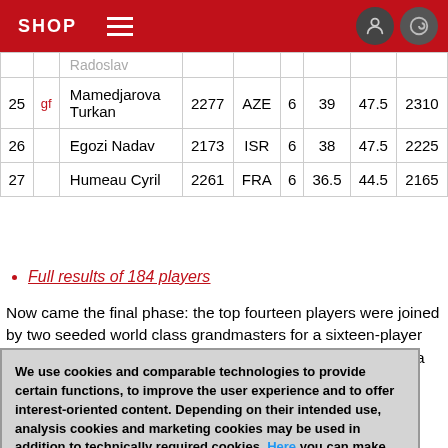SHOP
| # | title | Name | Elo | Fed | Pts | TB1 | TB2 | Perf |
| --- | --- | --- | --- | --- | --- | --- | --- | --- |
|  |  | Radoslav |  |  |  |  |  |  |
| 25 | gf | Mamedjarova Turkan | 2277 | AZE | 6 | 39 | 47.5 | 2310 |
| 26 |  | Egozi Nadav | 2173 | ISR | 6 | 38 | 47.5 | 2225 |
| 27 |  | Humeau Cyril | 2261 | FRA | 6 | 36.5 | 44.5 | 2165 |
Full results of 184 players
Now came the final phase: the top fourteen players were joined by two seeded world class grandmasters for a sixteen-player knockout competition, with two games per match, played at a rate of fifteen minutes for all moves plus three seconds increment per
We use cookies and comparable technologies to provide certain functions, to improve the user experience and to offer interest-oriented content. Depending on their intended use, analysis cookies and marketing cookies may be used in addition to technically required cookies. Here you can make detailed settings or revoke your consent (if necessary partially) with effect for the future. Further information can be found in our data protection declaration.